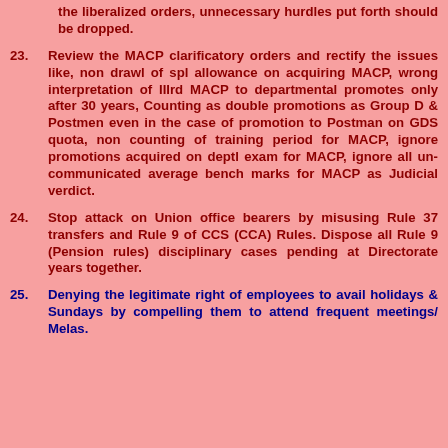the liberalized orders, unnecessary hurdles put forth should be dropped.
23. Review the MACP clarificatory orders and rectify the issues like, non drawl of spl allowance on acquiring MACP, wrong interpretation of IIIrd MACP to departmental promotes only after 30 years, Counting as double promotions as Group D & Postmen even in the case of promotion to Postman on GDS quota, non counting of training period for MACP, ignore promotions acquired on deptl exam for MACP, ignore all un-communicated average bench marks for MACP as Judicial verdict.
24. Stop attack on Union office bearers by misusing Rule 37 transfers and Rule 9 of CCS (CCA) Rules. Dispose all Rule 9 (Pension rules) disciplinary cases pending at Directorate years together.
25. Denying the legitimate right of employees to avail holidays & Sundays by compelling them to attend frequent meetings/ Melas.